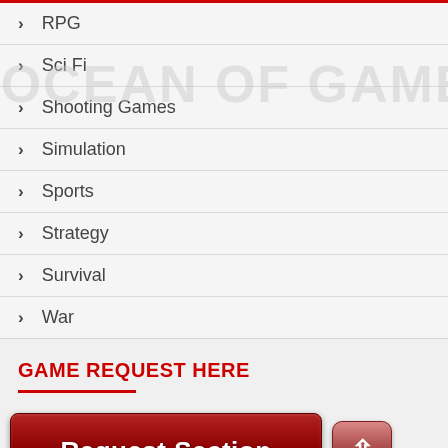RPG
Sci Fi
Shooting Games
Simulation
Sports
Strategy
Survival
War
GAME REQUEST HERE
[Figure (screenshot): Red 'Request Section' button and scroll-to-top button]